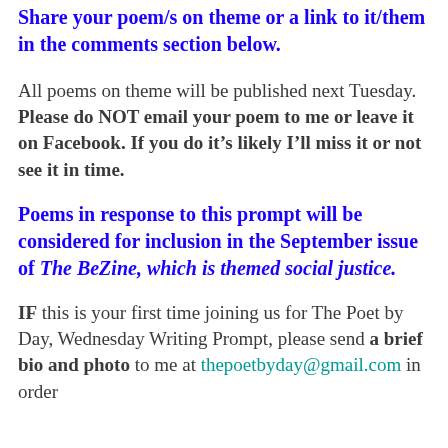Share your poem/s on theme or a link to it/them in the comments section below.
All poems on theme will be published next Tuesday. Please do NOT email your poem to me or leave it on Facebook. If you do it’s likely I’ll miss it or not see it in time.
Poems in response to this prompt will be considered for inclusion in the September issue of The BeZine, which is themed social justice.
IF this is your first time joining us for The Poet by Day, Wednesday Writing Prompt, please send a brief bio and photo to me at thepoetbyday@gmail.com in order